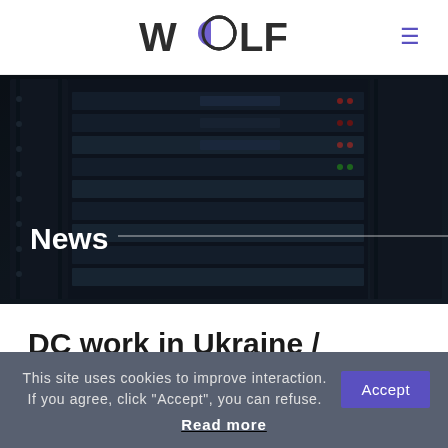WOLF
[Figure (photo): Dark server room/data center equipment with rack-mounted servers and cables, dimly lit with blue tones]
News
DC work in Ukraine / Kharkiv
This site uses cookies to improve interaction. If you agree, click "Accept", you can refuse. Accept Read more